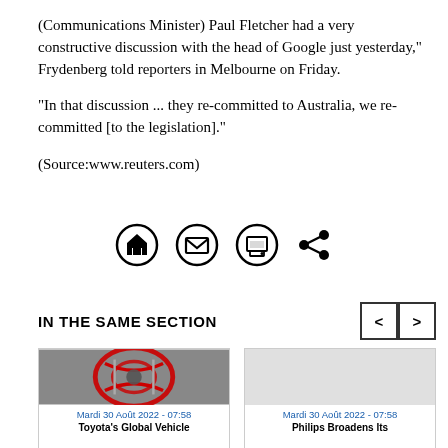(Communications Minister) Paul Fletcher had a very constructive discussion with the head of Google just yesterday," Frydenberg told reporters in Melbourne on Friday.

"In that discussion ... they re-committed to Australia, we re-committed [to the legislation]."

(Source:www.reuters.com)
[Figure (infographic): Row of four social/utility icon buttons: home icon in circle, email/envelope icon in circle, print icon in circle, share icon (no circle)]
IN THE SAME SECTION
[Figure (photo): Toyota logo glowing red, left card thumbnail]
Mardi 30 Août 2022 - 07:58
Toyota's Global Vehicle
Mardi 30 Août 2022 - 07:58
Philips Broadens Its